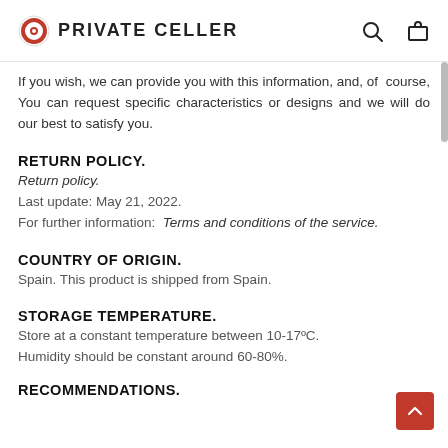PRIVATE CELLER
If you wish, we can provide you with this information, and, of course, You can request specific characteristics or designs and we will do our best to satisfy you.
RETURN POLICY.
Return policy.
Last update: May 21, 2022.
For further information: Terms and conditions of the service.
COUNTRY OF ORIGIN.
Spain. This product is shipped from Spain.
STORAGE TEMPERATURE.
Store at a constant temperature between 10-17ºC. Humidity should be constant around 60-80%.
RECOMMENDATIONS.